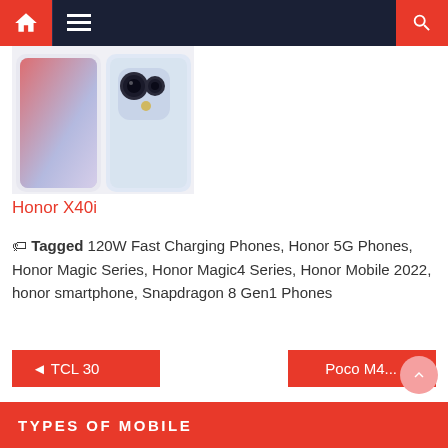[Figure (screenshot): Top navigation bar with home icon (red background), hamburger menu icon (dark background), and search icon (red background) on right]
[Figure (photo): Honor X40i smartphone product image showing two phones side by side - one from the front and one from the back showing camera module]
Honor X40i
Tagged 120W Fast Charging Phones, Honor 5G Phones, Honor Magic Series, Honor Magic4 Series, Honor Mobile 2022, honor smartphone, Snapdragon 8 Gen1 Phones
◄ TCL 30
Poco M4... ►
TYPES OF MOBILE